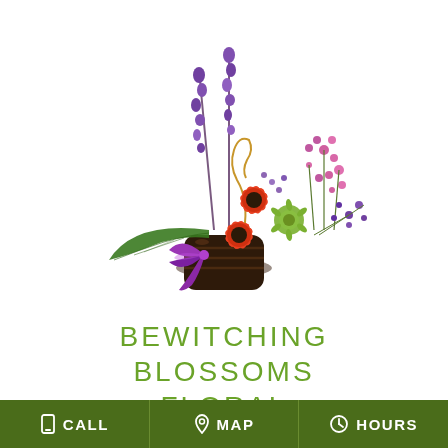[Figure (photo): Floral arrangement in a dark brown ribbed pot with a purple ribbon bow. Features orange gerbera daisies, purple and pink statice flowers, green spider mums, a tropical leaf, purple delphinium spires, and gold spiral accents on a white background.]
BEWITCHING BLOSSOMS FLORAL
CALL  MAP  HOURS